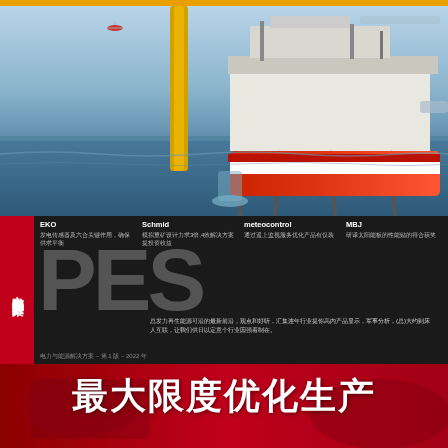[Figure (photo): Offshore oil drilling platform with a large orange and white vessel alongside, helicopter visible in background, sea water visible]
EKO
发电传感器及六合关键作用，确保供求平衡
Schmid
模拟重矿设计力求3倍,4效解决方案提投资收益
meteocontrol
通过遥上监视服务优化产品有仅装
MBJ
研译太阳能板的性能贴的符合获奖
电力与能源解决方案
[Figure (logo): PES large gray letters logo]
总发力再生能源可沿的最新前沿，观点和好听，汇集连年行业提你高内产品显示，军事分析，(总)大约到床人互联，让我们供日以定意个行业因强着制在。
电力与能源解决方案 – 第 1 版 – 2022 年
[Figure (photo): Close-up industrial/automotive red-toned equipment photo background]
最大限度优化生产